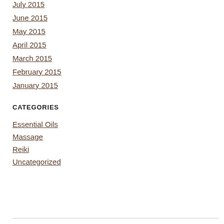July 2015
June 2015
May 2015
April 2015
March 2015
February 2015
January 2015
CATEGORIES
Essential Oils
Massage
Reiki
Uncategorized